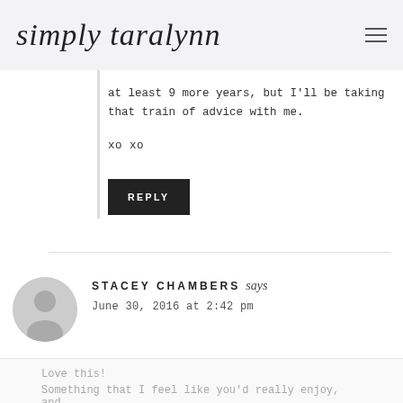simply taralynn
at least 9 more years, but I'll be taking that train of advice with me.

xo xo
REPLY
STACEY CHAMBERS says
June 30, 2016 at 2:42 pm
Love this!
Something that I feel like you'd really enjoy, and